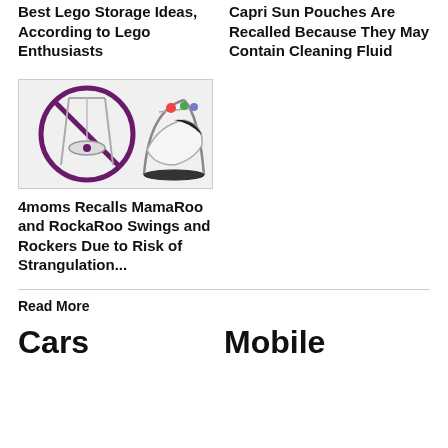Best Lego Storage Ideas, According to Lego Enthusiasts
Capri Sun Pouches Are Recalled Because They May Contain Cleaning Fluid
[Figure (photo): Product recall image showing a MamaRoo swing with a prohibition circle symbol overlaid on the left side, and a RockaRoo swing on the right side]
4moms Recalls MamaRoo and RockaRoo Swings and Rockers Due to Risk of Strangulation...
Read More
Cars
Mobile